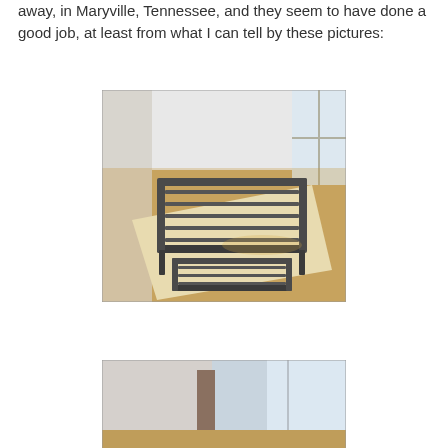away, in Maryville, Tennessee, and they seem to have done a good job, at least from what I can tell by these pictures:
[Figure (photo): A metal bed frame laid flat on a hardwood floor on top of cardboard/packaging material in a room with white walls and windows. The frame appears partially assembled, showing the metal slat structure from above at an angle.]
[Figure (photo): Partial view of another photo showing what appears to be a room with windows, partially cut off at the bottom of the page.]